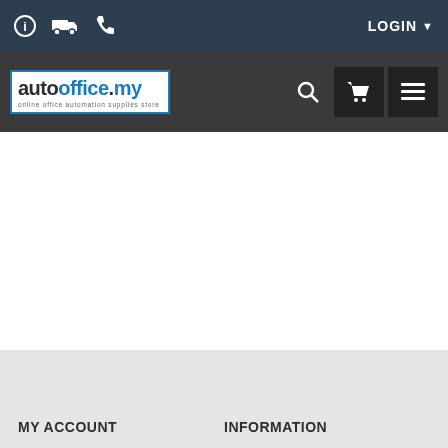autooffice.my - online office automation supplies store
[Figure (screenshot): Website header with navigation bar showing autooffice.my logo, search icon, cart icon, and menu icon. Top utility bar with info, shipping, phone icons and LOGIN button.]
MY ACCOUNT
INFORMATION